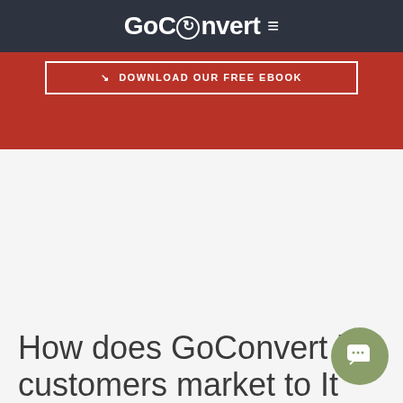GoConvert ≡
[Figure (screenshot): Red banner with 'DOWNLOAD OUR FREE EBOOK' button outlined in white]
How does GoConvert h[elp] customers market to It[aly?]